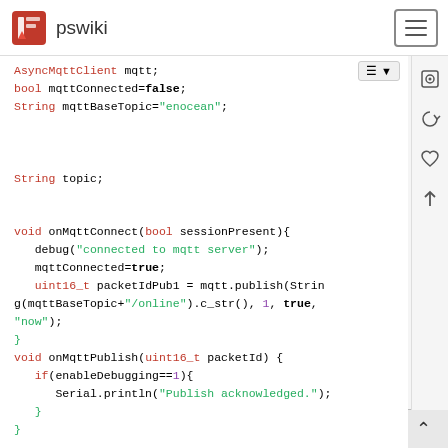pswiki
[Figure (screenshot): Wiki page header with pswiki logo and hamburger menu]
Code block showing Arduino/C++ MQTT code including AsyncMqttClient mqtt;, bool mqttConnected=false;, String mqttBaseTopic="enocean";, String topic;, void onMqttConnect(bool sessionPresent){ debug("connected to mqtt server"); mqttConnected=true; uint16_t packetIdPub1 = mqtt.publish(String(mqttBaseTopic+"/online").c_str(), 1, true, "now"); }, void onMqttPublish(uint16_t packetId) { if(enableDebugging==1){ Serial.println("Publish acknowledged."); } }, void setup() { // put your setup code here, to run once: